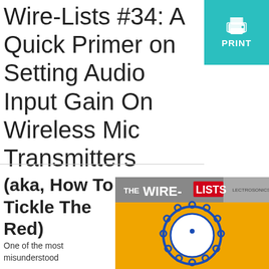Wire-Lists #34: A Quick Primer on Setting Audio Input Gain On Wireless Mic Transmitters
[Figure (screenshot): Cyan/teal PRINT button with printer icon]
(aka, How To Tickle The Red)
[Figure (screenshot): The Wire-Lists logo banner with Lectrosonics branding, and an orange/yellow background with a blue dial/knob illustration]
One of the most misunderstood